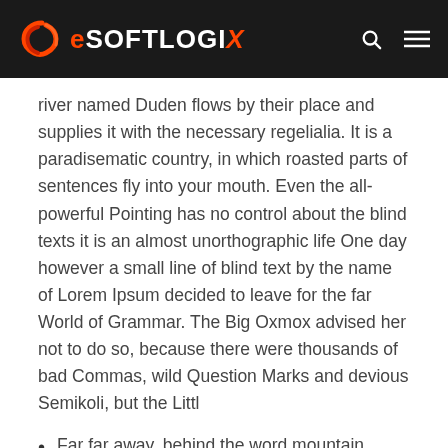eSoftlogiX
river named Duden flows by their place and supplies it with the necessary regelialia. It is a paradisematic country, in which roasted parts of sentences fly into your mouth. Even the all-powerful Pointing has no control about the blind texts it is an almost unorthographic life One day however a small line of blind text by the name of Lorem Ipsum decided to leave for the far World of Grammar. The Big Oxmox advised her not to do so, because there were thousands of bad Commas, wild Question Marks and devious Semikoli, but the Littl
Far far away, behind the word mountain